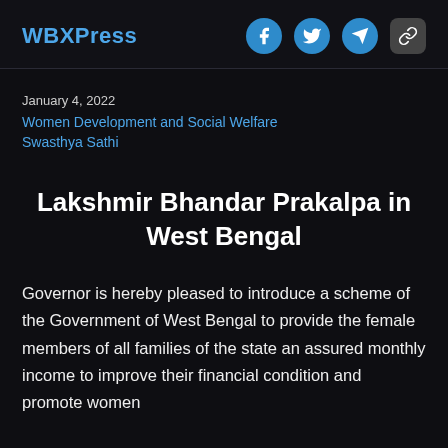WBXPress
January 4, 2022
Women Development and Social Welfare
Swasthya Sathi
Lakshmir Bhandar Prakalpa in West Bengal
Governor is hereby pleased to introduce a scheme of the Government of West Bengal to provide the female members of all families of the state an assured monthly income to improve their financial condition and promote women